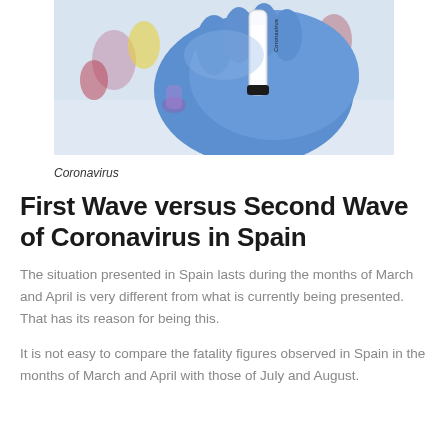[Figure (photo): Blue gloved hand holding a coronavirus-labeled test tube, with other medical vials in the blurred background.]
Coronavirus
First Wave versus Second Wave of Coronavirus in Spain
The situation presented in Spain lasts during the months of March and April is very different from what is currently being presented. That has its reason for being this.
It is not easy to compare the fatality figures observed in Spain in the months of March and April with those of July and August.